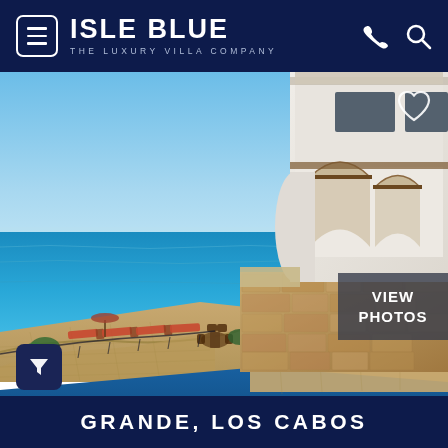ISLE BLUE - THE LUXURY VILLA COMPANY
[Figure (photo): Aerial/terrace view of a luxury white Mediterranean-style villa in Los Cabos, Mexico, with a stone retaining wall, infinity pool, curved terrace with sun loungers and ocean backdrop under blue sky.]
GRANDE, LOS CABOS